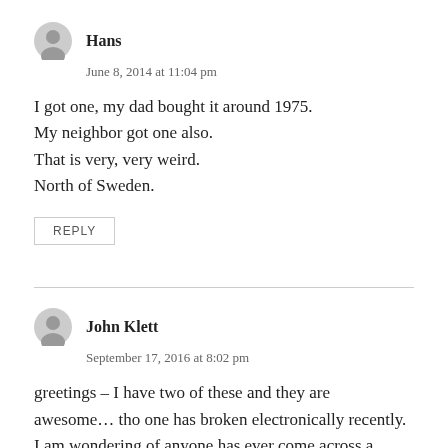Hans
June 8, 2014 at 11:04 pm
I got one, my dad bought it around 1975.
My neighbor got one also.
That is very, very weird.
North of Sweden.
REPLY
John Klett
September 17, 2016 at 8:02 pm
greetings – I have two of these and they are awesome… tho one has broken electronically recently. I am wondering of anyone has ever come across a schematic. I figured I'd ask before reverse